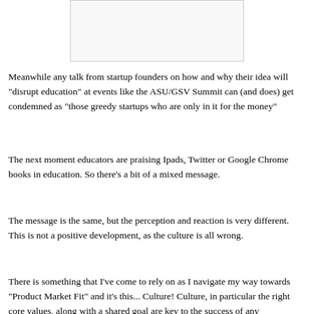[Figure (other): A rectangular empty/white box with a light border, likely a placeholder image at the top of the page.]
Meanwhile any talk from startup founders on how and why their idea will "disrupt education" at events like the ASU/GSV Summit can (and does) get condemned as "those greedy startups who are only in it for the money"
The next moment educators are praising Ipads, Twitter or Google Chrome books in education. So there's a bit of a mixed message.
The message is the same, but the perception and reaction is very different. This is not a positive development, as the culture is all wrong.
There is something that I've come to rely on as I navigate my way towards "Product Market Fit" and it's this... Culture! Culture, in particular the right core values, along with a shared goal are key to the success of any